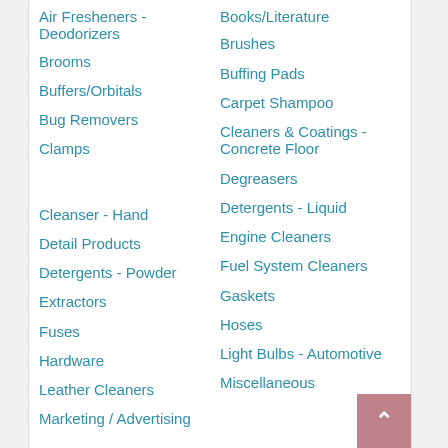Air Fresheners - Deodorizers
Books/Literature
Brooms
Brushes
Buffers/Orbitals
Buffing Pads
Bug Removers
Carpet Shampoo
Clamps
Cleaners & Coatings - Concrete Floor
Cleanser - Hand
Degreasers
Detail Products
Detergents - Liquid
Detergents - Powder
Engine Cleaners
Extractors
Fuel System Cleaners
Fuses
Gaskets
Hardware
Hoses
Leather Cleaners
Light Bulbs - Automotive
Marketing / Advertising
Miscellaneous